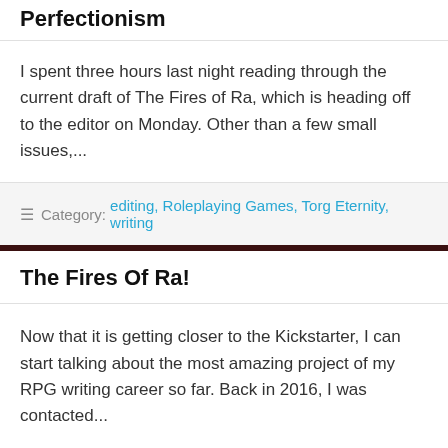Perfectionism
I spent three hours last night reading through the current draft of The Fires of Ra, which is heading off to the editor on Monday. Other than a few small issues,...
Category: editing, Roleplaying Games, Torg Eternity, writing
The Fires Of Ra!
Now that it is getting closer to the Kickstarter, I can start talking about the most amazing project of my RPG writing career so far. Back in 2016, I was contacted...
Category: Adventure, Pulp, Roleplaying Games, Torg